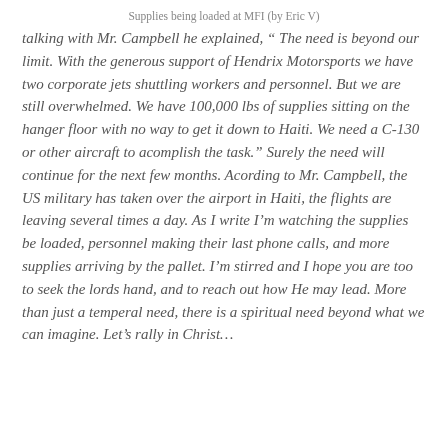Supplies being loaded at MFI (by Eric V)
talking with Mr. Campbell he explained, “ The need is beyond our limit. With the generous support of Hendrix Motorsports we have two corporate jets shuttling workers and personnel. But we are still overwhelmed. We have 100,000 lbs of supplies sitting on the hanger floor with no way to get it down to Haiti. We need a C-130 or other aircraft to acomplish the task.” Surely the need will continue for the next few months. Acording to Mr. Campbell, the US military has taken over the airport in Haiti, the flights are leaving several times a day. As I write I’m watching the supplies be loaded, personnel making their last phone calls, and more supplies arriving by the pallet. I’m stirred and I hope you are too to seek the lords hand, and to reach out how He may lead. More than just a temperal need, there is a spiritual need beyond what we can imagine. Let’s rally in Christ…